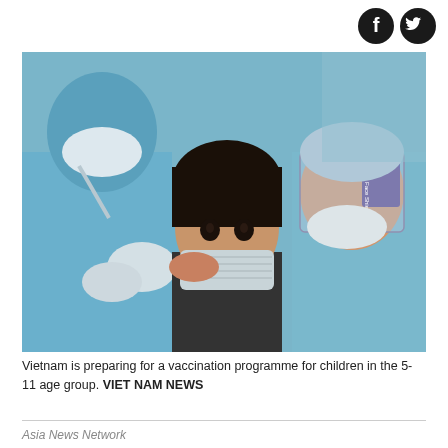[Figure (photo): Two healthcare workers in blue PPE gowns, face shields, and masks administering a vaccine injection to a young girl wearing a mask, in a medical setting.]
Vietnam is preparing for a vaccination programme for children in the 5-11 age group. VIET NAM NEWS
Asia News Network